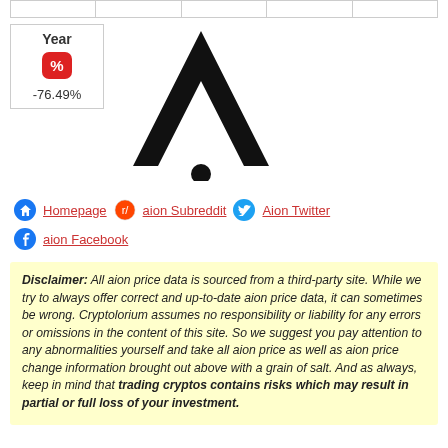| Year |  |  |  |  |  |
| --- | --- | --- | --- | --- | --- |
|  |  |  |  |  |  |
[Figure (logo): Aion cryptocurrency logo - large black letter A with a dot beneath it, and a small box showing Year / red % badge / -76.49%]
Homepage
aion Subreddit
Aion Twitter
aion Facebook
Disclaimer: All aion price data is sourced from a third-party site. While we try to always offer correct and up-to-date aion price data, it can sometimes be wrong. Cryptolorium assumes no responsibility or liability for any errors or omissions in the content of this site. So we suggest you pay attention to any abnormalities yourself and take all aion price as well as aion price change information brought out above with a grain of salt. And as always, keep in mind that trading cryptos contains risks which may result in partial or full loss of your investment.